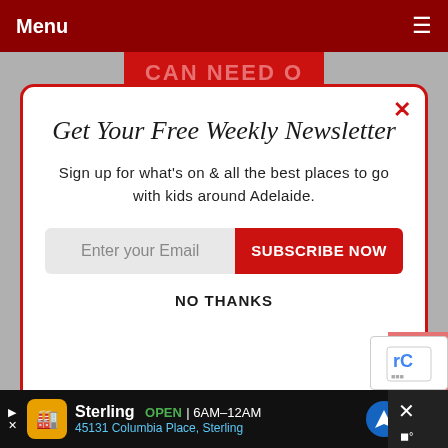Menu
[Figure (screenshot): Red advertisement banner with text 'advertise with play [SUMO badge] go']
Get Your Free Weekly Newsletter
Sign up for what's on & all the best places to go with kids around Adelaide.
Enter your Email  SUBSCRIBE NOW
NO THANKS
[Figure (screenshot): Bottom advertisement strip: Sterling OPEN 6AM–12AM, 45131 Columbia Place, Sterling]